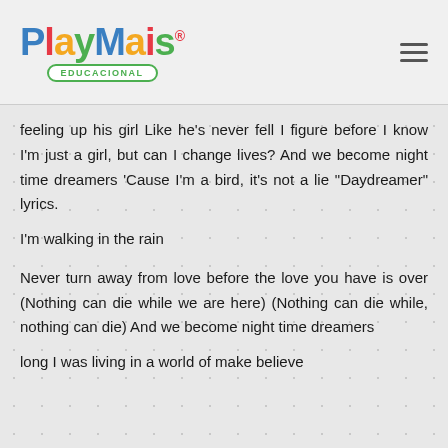[Figure (logo): PlayMais Educacional logo with colorful letters and green badge]
feeling up his girl Like he's never fell I figure before I know I'm just a girl, but can I change lives? And we become night time dreamers 'Cause I'm a bird, it's not a lie "Daydreamer" lyrics.
I'm walking in the rain
Never turn away from love before the love you have is over (Nothing can die while we are here) (Nothing can die while, nothing can die) And we become night time dreamers
long I was living in a world of make believe